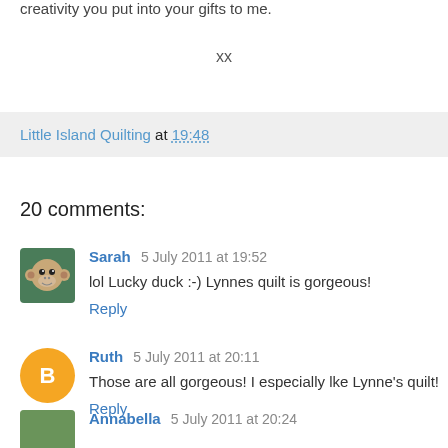creativity you put into your gifts to me.
xx
Little Island Quilting at 19:48
20 comments:
Sarah 5 July 2011 at 19:52
lol Lucky duck :-) Lynnes quilt is gorgeous!
Reply
Ruth 5 July 2011 at 20:11
Those are all gorgeous! I especially lke Lynne's quilt!
Reply
Annabella 5 July 2011 at 20:24